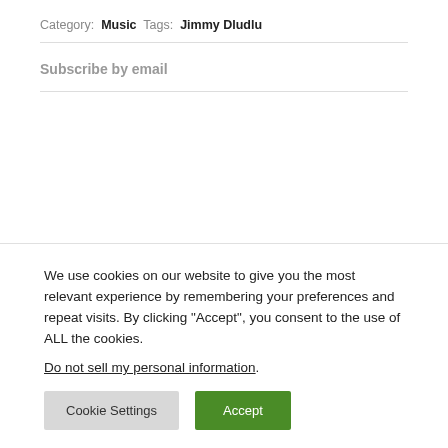Category: Music  Tags: Jimmy Dludlu
Subscribe by email
We use cookies on our website to give you the most relevant experience by remembering your preferences and repeat visits. By clicking “Accept”, you consent to the use of ALL the cookies.
Do not sell my personal information.
Cookie Settings  Accept